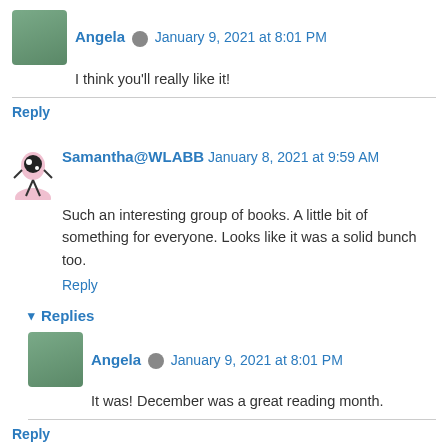Angela · January 9, 2021 at 8:01 PM
I think you'll really like it!
Reply
Samantha@WLABB  January 8, 2021 at 9:59 AM
Such an interesting group of books. A little bit of something for everyone. Looks like it was a solid bunch too.
Reply
Replies
Angela · January 9, 2021 at 8:01 PM
It was! December was a great reading month.
Reply